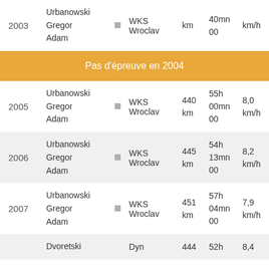| Year | Name | Flag | Club | Distance | Time | Speed |
| --- | --- | --- | --- | --- | --- | --- |
| 2003 | Urbanowski
Gregor
Adam | ▪ | WKS Wroclav | km | 40mn
00 | km/h |
|  | Pas d'épreuve en 2004 |  |  |  |  |  |
| 2005 | Urbanowski
Gregor
Adam | ▪ | WKS Wroclav | 440
km | 55h
00mn
00 | 8,0
km/h |
| 2006 | Urbanowski
Gregor
Adam | ▪ | WKS Wroclav | 445
km | 54h
13mn
00 | 8,2
km/h |
| 2007 | Urbanowski
Gregor
Adam | ▪ | WKS Wroclav | 451
km | 57h
04mn
00 | 7,9
km/h |
|  | Dvoretski |  | Dyn | 444 | 52h | 8,4 |